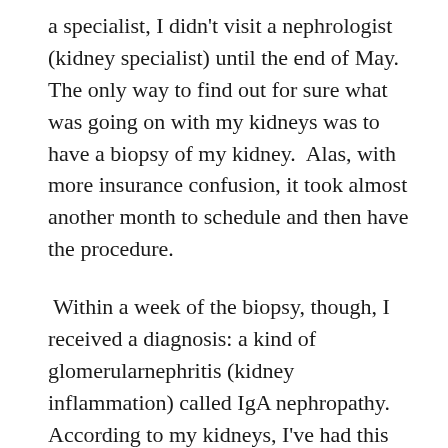a specialist, I didn't visit a nephrologist (kidney specialist) until the end of May. The only way to find out for sure what was going on with my kidneys was to have a biopsy of my kidney. Alas, with more insurance confusion, it took almost another month to schedule and then have the procedure.
Within a week of the biopsy, though, I received a diagnosis: a kind of glomerularnephritis (kidney inflammation) called IgA nephropathy. According to my kidneys, I've had this inflammation for 5–10 years, without symptoms. When I caught a virus in the airport or airplane on my way home from Mexico, it set off the underlying kidney inflammation. All